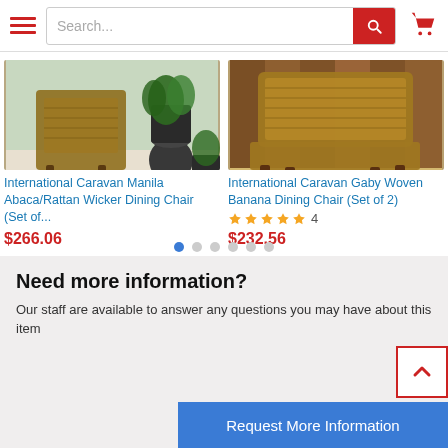[Figure (screenshot): E-commerce website header with hamburger menu, search bar with red search button, and red shopping cart icon]
[Figure (photo): International Caravan Manila Abaca/Rattan Wicker Dining Chair product photo showing wicker chairs on an outdoor patio with potted plants]
International Caravan Manila Abaca/Rattan Wicker Dining Chair (Set of...
$266.06
[Figure (photo): International Caravan Gaby Woven Banana Dining Chair product photo showing wicker chair with dark wood legs against wood paneling background]
International Caravan Gaby Woven Banana Dining Chair (Set of 2)
4
$232.56
Need more information?
Our staff are available to answer any questions you may have about this item
Request More Information